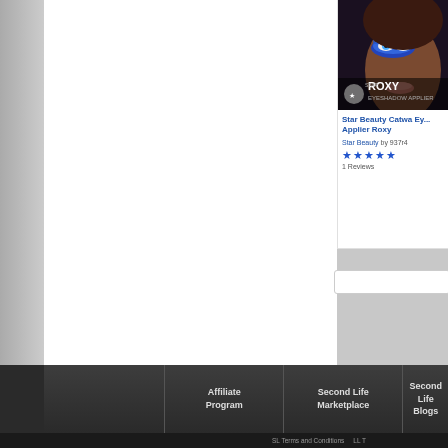[Figure (photo): Product image for Star Beauty Catwa Eyeshadow Applier Roxy - close up of a woman's face with bold blue eye makeup and a product logo overlay]
Star Beauty Catwa Ey... Applier Roxy
Star Beauty by 937r4
★★★★★ 1 Reviews
Affiliate Program | Second Life Marketplace | Second Life Blogs
SL Terms and Conditions  LL T...